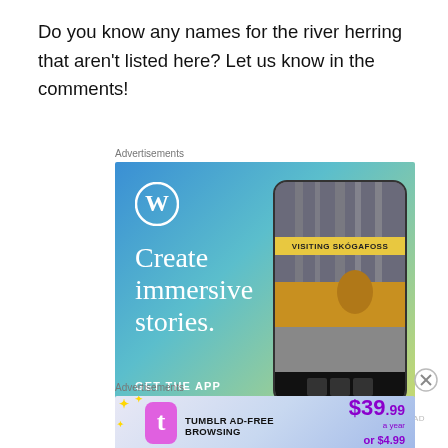Do you know any names for the river herring that aren't listed here? Let us know in the comments!
[Figure (advertisement): WordPress advertisement: blue-to-yellow gradient background, WordPress W logo, text 'Create immersive stories.' and 'GET THE APP', with phone mockup showing waterfall scene with 'VISITING SKÓGAFOSS' banner]
[Figure (advertisement): Tumblr Ad-Free Browsing advertisement: $39.99 a year or $4.99 a month pricing, blue gradient background with Tumblr logo]